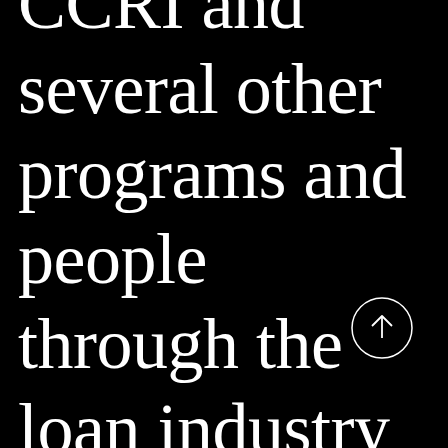CCRI and several other programs and people through the loan industry this
[Figure (other): A circular button with an upward-pointing arrow icon, outlined in white on a black background]